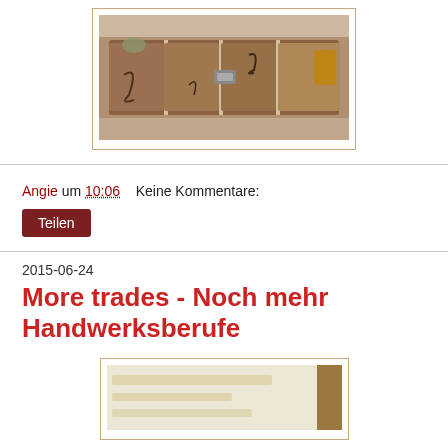[Figure (photo): Photo of animal fur/fleece pinned or stretched on a wooden board, shown from above]
Angie um 10:06    Keine Kommentare:
Teilen
2015-06-24
More trades - Noch mehr Handwerksberufe
[Figure (photo): Partial view of another photo, light-colored background with a brown vertical element on the right]